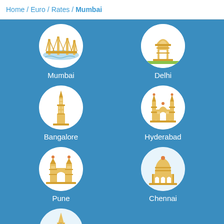Home / Euro / Rates / Mumbai
[Figure (illustration): City icon grid showing Indian cities: Mumbai (bridge), Delhi (gateway arch), Bangalore (tower), Hyderabad (palace), Pune (temple), Chennai (domed building), Gurgaon (clock tower). Each city is represented by a circular icon with a landmark illustration and the city name below.]